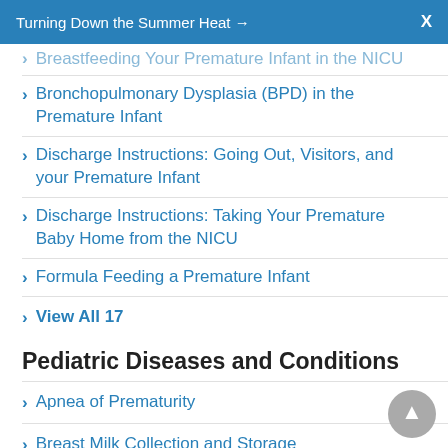Turning Down the Summer Heat →  X
Breastfeeding Your Premature Infant in the NICU
Bronchopulmonary Dysplasia (BPD) in the Premature Infant
Discharge Instructions: Going Out, Visitors, and your Premature Infant
Discharge Instructions: Taking Your Premature Baby Home from the NICU
Formula Feeding a Premature Infant
View All 17
Pediatric Diseases and Conditions
Apnea of Prematurity
Breast Milk Collection and Storage
Breast Milk Expression
Breastfeeding Your Premature Baby